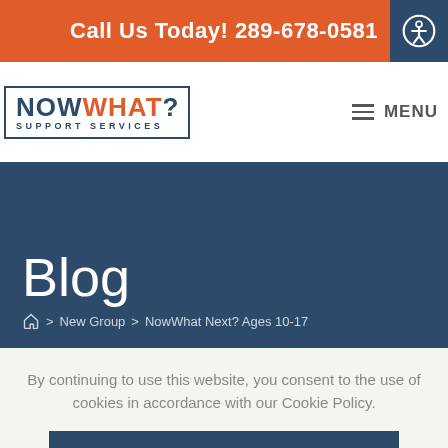Call Us Today! 289-678-0581
[Figure (logo): NowWhat? Support Services logo — bold text in a rectangle border, 'NOW' in dark blue, 'WHAT?' in orange, 'SUPPORT SERVICES' subtitle in dark blue]
Blog
Home > New Group > NowWhat Next? Ages 10-17
By continuing to use this website, you consent to the use of cookies in accordance with our Cookie Policy.
ACCEPT